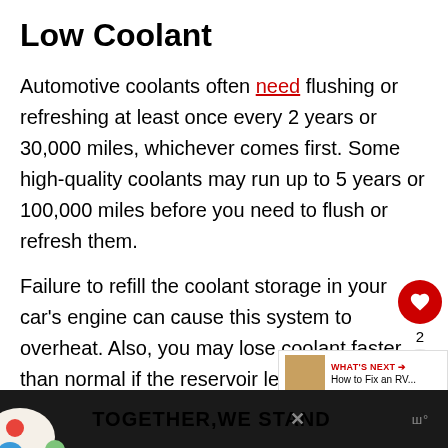Low Coolant
Automotive coolants often need flushing or refreshing at least once every 2 years or 30,000 miles, whichever comes first. Some high-quality coolants may run up to 5 years or 100,000 miles before you need to flush or refresh them.
Failure to refill the coolant storage in your car’s engine can cause this system to overheat. Also, you may lose coolant faster than normal if the reservoir leaks. If so, check the surface underneath your vehicle for green, yellow, or pinkish-red liquids that came from your vehicle.
[Figure (infographic): UI overlay with heart/like button showing count of 2 and a share button]
[Figure (infographic): What's Next panel: image thumbnail and text 'How to Fix an RV...']
[Figure (infographic): Advertisement banner at bottom: colorful blob graphic on left, text 'TOGETHER,WE STAND', close button, and logo on right]